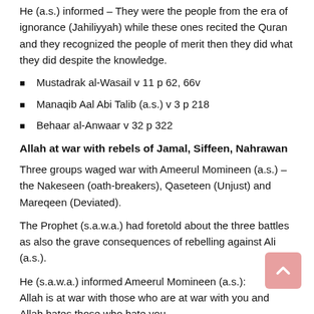He (a.s.) informed – They were the people from the era of ignorance (Jahiliyyah) while these ones recited the Quran and they recognized the people of merit then they did what they did despite the knowledge.
Mustadrak al-Wasail v 11 p 62, 66v
Manaqib Aal Abi Talib (a.s.) v 3 p 218
Behaar al-Anwaar v 32 p 322
Allah at war with rebels of Jamal, Siffeen, Nahrawan
Three groups waged war with Ameerul Momineen (a.s.) – the Nakeseen (oath-breakers), Qaseteen (Unjust) and Mareqeen (Deviated).
The Prophet (s.a.w.a.) had foretold about the three battles as also the grave consequences of rebelling against Ali (a.s.).
He (s.a.w.a.) informed Ameerul Momineen (a.s.): Allah is at war with those who are at war with you and Allah hates those who hate you.